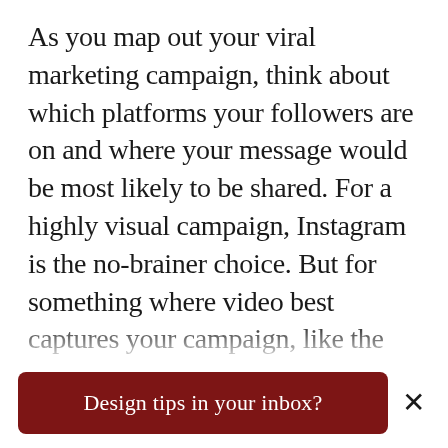As you map out your viral marketing campaign, think about which platforms your followers are on and where your message would be most likely to be shared. For a highly visual campaign, Instagram is the no-brainer choice. But for something where video best captures your campaign, like the Ice Bucket Challenge, you're best off with a platform meant for video like Youtube or TikTok (and yes, we know you can post videos on Instagram… but there's a difference between a photo platform where you can publish videos and platforms designed and
Design tips in your inbox?